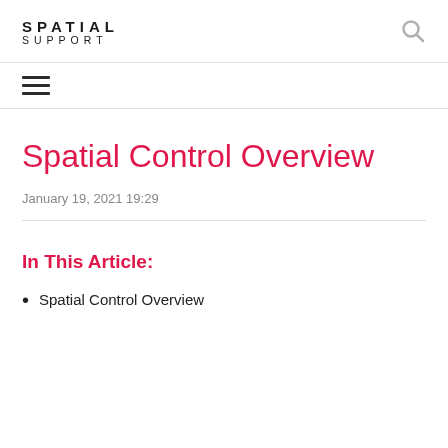SPATIAL SUPPORT
Spatial Control Overview
January 19, 2021 19:29
In This Article:
Spatial Control Overview